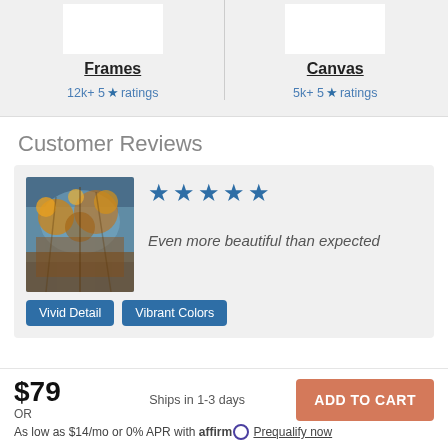Frames — 12k+ 5★ ratings
Canvas — 5k+ 5★ ratings
Customer Reviews
[Figure (photo): Colorful autumn tree painting/photo with blue, orange and gold tones]
Even more beautiful than expected
Vivid Detail
Vibrant Colors
$79
Ships in 1-3 days
ADD TO CART
OR
As low as $14/mo or 0% APR with affirm Prequalify now